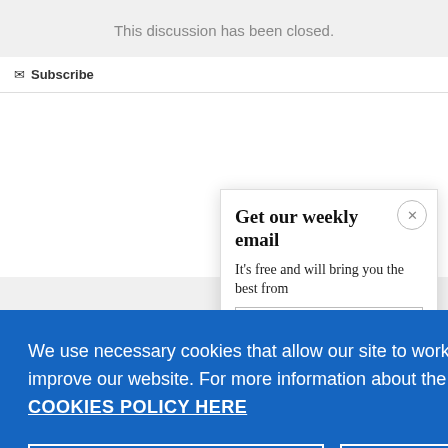This discussion has been closed.
Subscribe
Get our weekly email
It’s free and will bring you the best from
We use necessary cookies that allow our site to work. We also set optional cookies that help us improve our website. For more information about the types of cookies we use. READ OUR COOKIES POLICY HERE
COOKIE SETTINGS
ALLOW ALL COOKIES
data.
CONFLIC